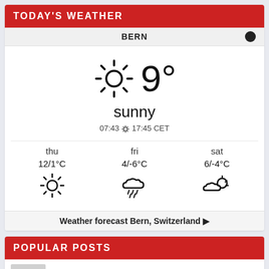TODAY'S WEATHER
BERN
[Figure (infographic): Weather widget showing sunny weather with sun icon, 9 degrees temperature, description 'sunny', sunrise 07:43 and sunset 17:45 CET. Forecast: thu 12/1°C sunny, fri 4/-6°C rain/sleet, sat 6/-4°C partly cloudy.]
Weather forecast Bern, Switzerland ▶
POPULAR POSTS
NeoGenix Now Offers Regenerative PRP